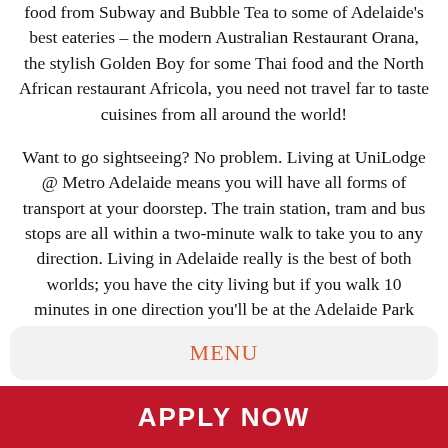food from Subway and Bubble Tea to some of Adelaide's best eateries – the modern Australian Restaurant Orana, the stylish Golden Boy for some Thai food and the North African restaurant Africola, you need not travel far to taste cuisines from all around the world!

Want to go sightseeing? No problem. Living at UniLodge @ Metro Adelaide means you will have all forms of transport at your doorstep. The train station, tram and bus stops are all within a two-minute walk to take you to any direction. Living in Adelaide really is the best of both worlds; you have the city living but if you walk 10 minutes in one direction you'll be at the Adelaide Park Lands, or head the other way and be at the Adelaide Botanic Gardens enjoying the peace and tranquillity.
MENU
APPLY NOW